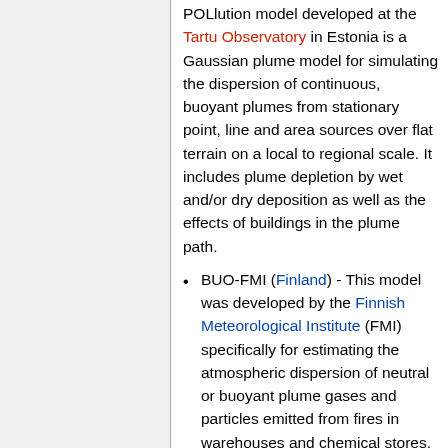POLlution model developed at the Tartu Observatory in Estonia is a Gaussian plume model for simulating the dispersion of continuous, buoyant plumes from stationary point, line and area sources over flat terrain on a local to regional scale. It includes plume depletion by wet and/or dry deposition as well as the effects of buildings in the plume path.
BUO-FMI (Finland) - This model was developed by the Finnish Meteorological Institute (FMI) specifically for estimating the atmospheric dispersion of neutral or buoyant plume gases and particles emitted from fires in warehouses and chemical stores. It is a hybrid of a local scale Gaussian plume model and another model type. Plume